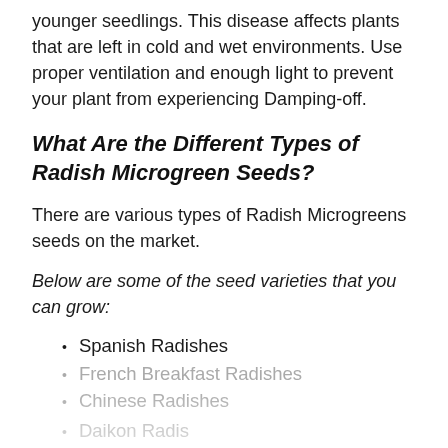younger seedlings. This disease affects plants that are left in cold and wet environments. Use proper ventilation and enough light to prevent your plant from experiencing Damping-off.
What Are the Different Types of Radish Microgreen Seeds?
There are various types of Radish Microgreens seeds on the market.
Below are some of the seed varieties that you can grow:
Spanish Radishes
French Breakfast Radishes
Chinese Radishes
Daikon Radishes